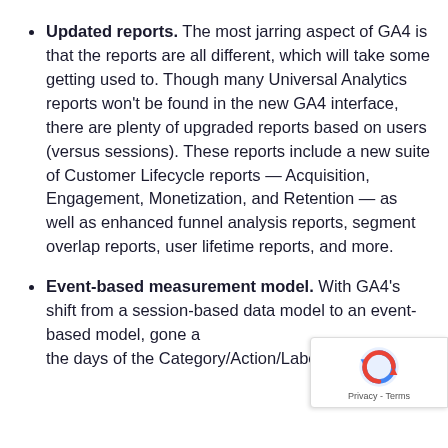Updated reports. The most jarring aspect of GA4 is that the reports are all different, which will take some getting used to. Though many Universal Analytics reports won't be found in the new GA4 interface, there are plenty of upgraded reports based on users (versus sessions). These reports include a new suite of Customer Lifecycle reports — Acquisition, Engagement, Monetization, and Retention — as well as enhanced funnel analysis reports, segment overlap reports, user lifetime reports, and more.
Event-based measurement model. With GA4's shift from a session-based data model to an event-based model, gone are the days of the Category/Action/Label...